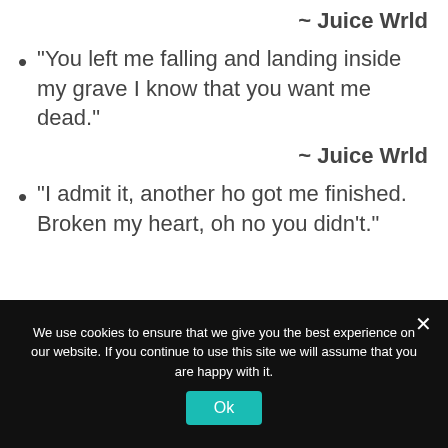~ Juice Wrld
“You left me falling and landing inside my grave I know that you want me dead.”
~ Juice Wrld
“I admit it, another ho got me finished. Broken my heart, oh no you didn’t.”
We use cookies to ensure that we give you the best experience on our website. If you continue to use this site we will assume that you are happy with it.